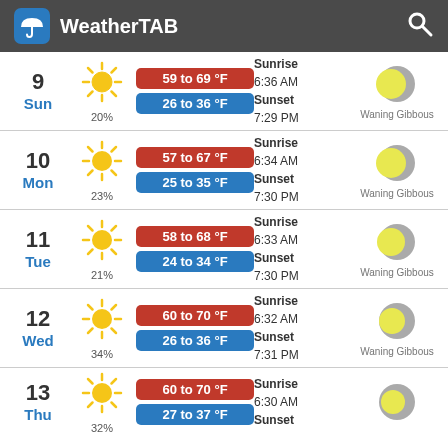WeatherTAB
9 Sun 20% | 59 to 69 °F / 26 to 36 °F | Sunrise 6:36 AM Sunset 7:29 PM | Waning Gibbous
10 Mon 23% | 57 to 67 °F / 25 to 35 °F | Sunrise 6:34 AM Sunset 7:30 PM | Waning Gibbous
11 Tue 21% | 58 to 68 °F / 24 to 34 °F | Sunrise 6:33 AM Sunset 7:30 PM | Waning Gibbous
12 Wed 34% | 60 to 70 °F / 26 to 36 °F | Sunrise 6:32 AM Sunset 7:31 PM | Waning Gibbous
13 Thu 32% | 60 to 70 °F / 27 to 37 °F | Sunrise 6:30 AM Sunset